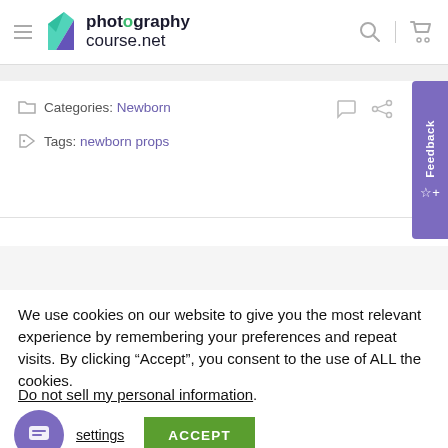[Figure (logo): photographycourse.net logo with green/teal/purple leaf icon and bold text]
Categories: Newborn
Tags: newborn props
We use cookies on our website to give you the most relevant experience by remembering your preferences and repeat visits. By clicking “Accept”, you consent to the use of ALL the cookies.
Do not sell my personal information.
settings
ACCEPT